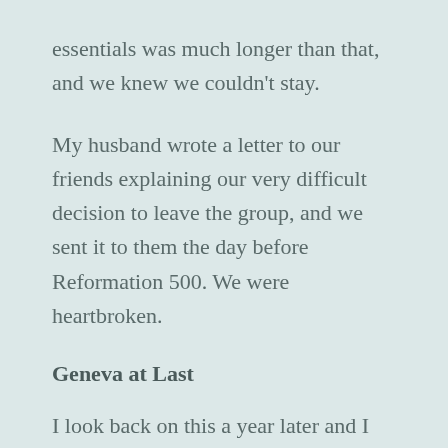essentials was much longer than that, and we knew we couldn't stay.
My husband wrote a letter to our friends explaining our very difficult decision to leave the group, and we sent it to them the day before Reformation 500. We were heartbroken.
Geneva at Last
I look back on this a year later and I am so